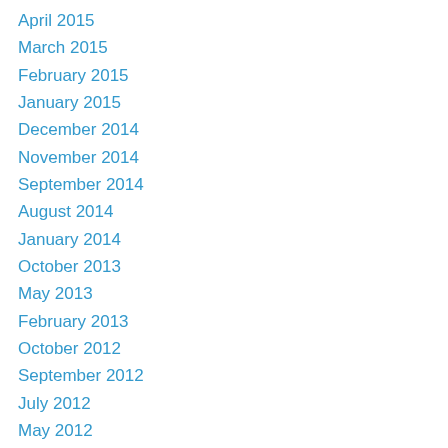April 2015
March 2015
February 2015
January 2015
December 2014
November 2014
September 2014
August 2014
January 2014
October 2013
May 2013
February 2013
October 2012
September 2012
July 2012
May 2012
April 2012
March 2012
January 2012